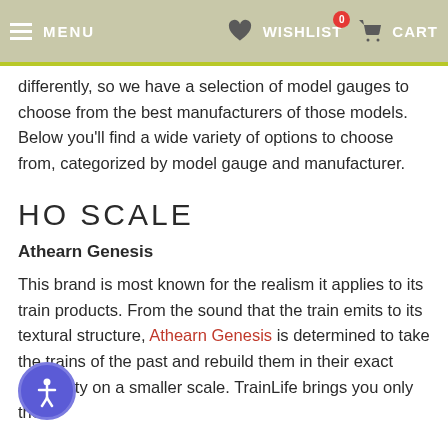MENU  WISHLIST  CART (0)
differently, so we have a selection of model gauges to choose from the best manufacturers of those models. Below you'll find a wide variety of options to choose from, categorized by model gauge and manufacturer.
HO SCALE
Athearn Genesis
This brand is most known for the realism it applies to its train products. From the sound that the train emits to its textural structure, Athearn Genesis is determined to take the trains of the past and rebuild them in their exact originality on a smaller scale. TrainLife brings you only the